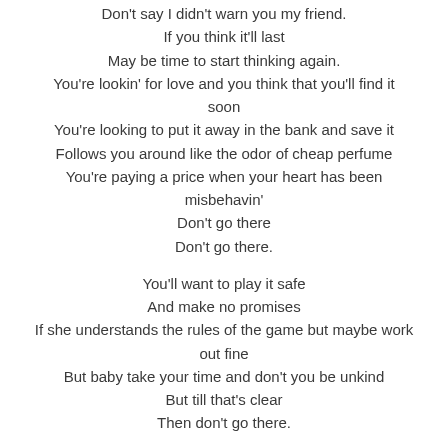Don't say I didn't warn you my friend.
If you think it'll last
May be time to start thinking again.
You're lookin' for love and you think that you'll find it soon
You're looking to put it away in the bank and save it
Follows you around like the odor of cheap perfume
You're paying a price when your heart has been misbehavin'
Don't go there
Don't go there.

You'll want to play it safe
And make no promises
If she understands the rules of the game but maybe work out fine
But baby take your time and don't you be unkind
But till that's clear
Then don't go there.